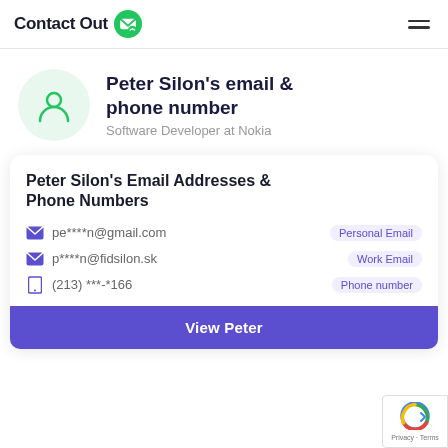ContactOut
Peter Silon's email & phone number
Software Developer at Nokia
Peter Silon's Email Addresses & Phone Numbers
pe****n@gmail.com  Personal Email
p****n@fidsilon.sk  Work Email
(213) ***-*166  Phone number
View Peter